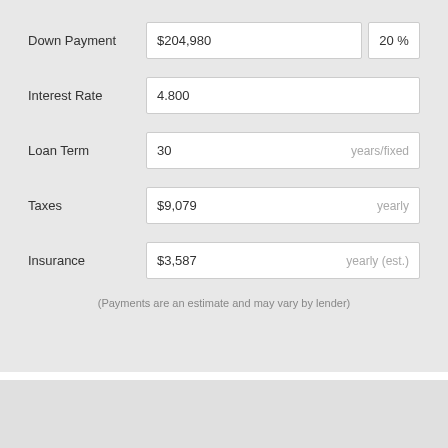Down Payment
$204,980
20 %
Interest Rate
4.800
Loan Term
30
years/fixed
Taxes
$9,079
yearly
Insurance
$3,587
yearly (est.)
(Payments are an estimate and may vary by lender)